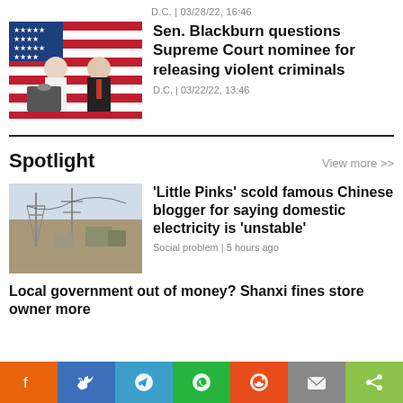D.C. | 03/28/22, 16:46
[Figure (photo): Two politicians standing at a podium with an American flag background]
Sen. Blackburn questions Supreme Court nominee for releasing violent criminals
D.C. | 03/22/22, 13:46
Spotlight
View more >>
[Figure (photo): Aerial view of industrial area with electricity pylons]
‘Little Pinks’ scold famous Chinese blogger for saying domestic electricity is ‘unstable’
Social problem | 5 hours ago
Local government out of money? Shanxi fines store owner more